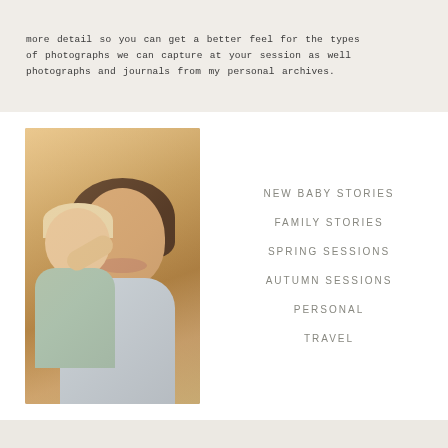more detail so you can get a better feel for the types of photographs we can capture at your session as well photographs and journals from my personal archives.
[Figure (photo): A mother holding a baby/toddler who is kissing her cheek. The mother is smiling warmly. The photo has warm, golden-hour lighting. The baby is wearing a light teal/mint shirt, and the mother is wearing a light blue/lavender top.]
NEW BABY STORIES
FAMILY STORIES
SPRING SESSIONS
AUTUMN SESSIONS
PERSONAL
TRAVEL